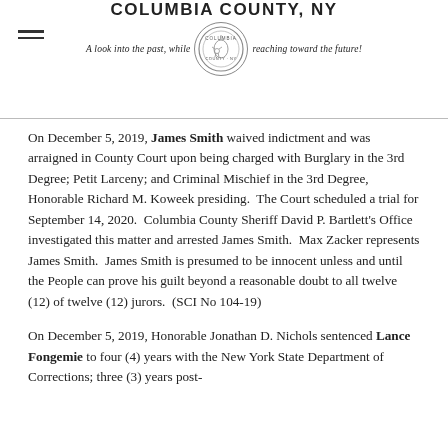COLUMBIA COUNTY, NY — A look into the past, while reaching toward the future!
On December 5, 2019, James Smith waived indictment and was arraigned in County Court upon being charged with Burglary in the 3rd Degree; Petit Larceny; and Criminal Mischief in the 3rd Degree, Honorable Richard M. Koweek presiding.  The Court scheduled a trial for September 14, 2020.  Columbia County Sheriff David P. Bartlett's Office investigated this matter and arrested James Smith.  Max Zacker represents James Smith.  James Smith is presumed to be innocent unless and until the People can prove his guilt beyond a reasonable doubt to all twelve (12) of twelve (12) jurors.  (SCI No 104-19)
On December 5, 2019, Honorable Jonathan D. Nichols sentenced Lance Fongemie to four (4) years with the New York State Department of Corrections; three (3) years post-